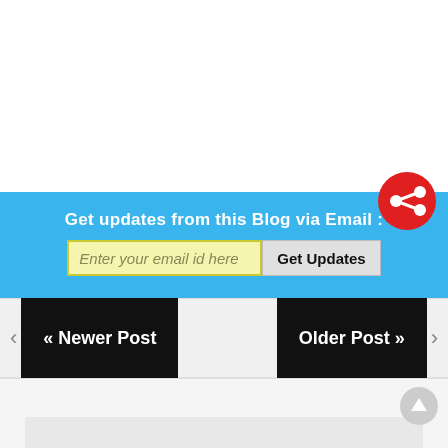[Figure (screenshot): Blue banner with email subscription form: 'Get updates from this Blog via Email :' with an email input field 'Enter your email id here' and a 'Get Updates' button. A red share icon is overlaid at bottom right of the banner. Below is a navigation bar with '« Newer Post' and 'Older Post »' buttons. A scroll-to-top button and comment area are at the bottom.]